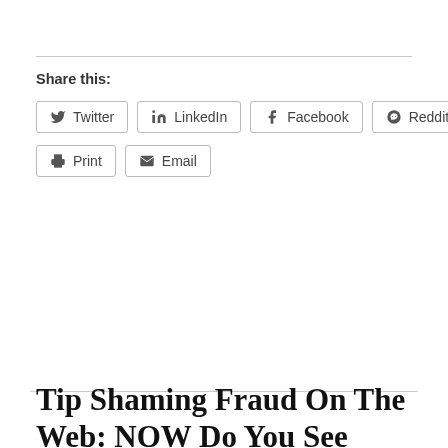Share this:
Twitter
LinkedIn
Facebook
Reddit
Print
Email
Tip Shaming Fraud On The Web: NOW Do You See Why